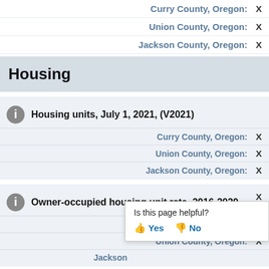Curry County, Oregon: X
Union County, Oregon: X
Jackson County, Oregon: X
Housing
Housing units, July 1, 2021, (V2021)
Curry County, Oregon: X
Union County, Oregon: X
Jackson County, Oregon: X
Owner-occupied housing unit rate, 2016-2020
Curry County, Oregon: X
Union County, Oregon: X
Jackson County, Oregon: X
Is this page helpful? Yes No